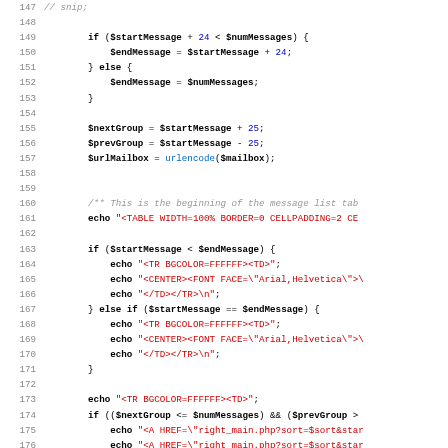Source code listing, lines 147-179, PHP code for message list pagination